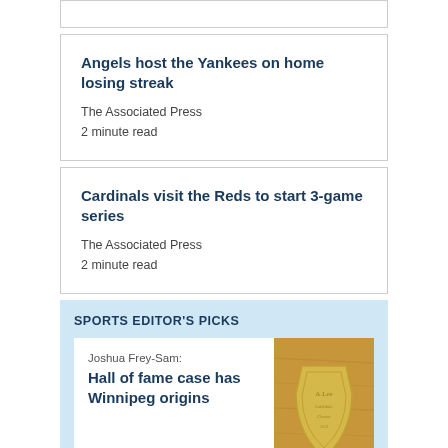Angels host the Yankees on home losing streak
The Associated Press
2 minute read
Cardinals visit the Reds to start 3-game series
The Associated Press
2 minute read
SPORTS EDITOR'S PICKS
Joshua Frey-Sam:
Hall of fame case has Winnipeg origins
[Figure (photo): A golden shield-shaped plaque or trophy on a wooden surface with engraved text]
Taylor Allen:
Filewich's hoops dream comes true
[Figure (photo): Basketball players in action on court, pink stadium seats visible in background]